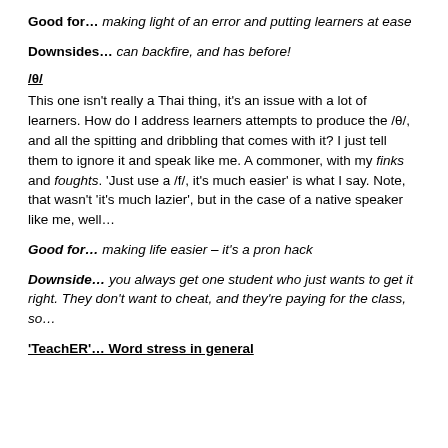Good for… making light of an error and putting learners at ease
Downsides… can backfire, and has before!
/θ/
This one isn't really a Thai thing, it's an issue with a lot of learners. How do I address learners attempts to produce the /θ/, and all the spitting and dribbling that comes with it? I just tell them to ignore it and speak like me. A commoner, with my finks and foughts. 'Just use a /f/, it's much easier' is what I say. Note, that wasn't 'it's much lazier', but in the case of a native speaker like me, well…
Good for… making life easier – it's a pron hack
Downside… you always get one student who just wants to get it right. They don't want to cheat, and they're paying for the class, so…
'TeachER'… Word stress in general